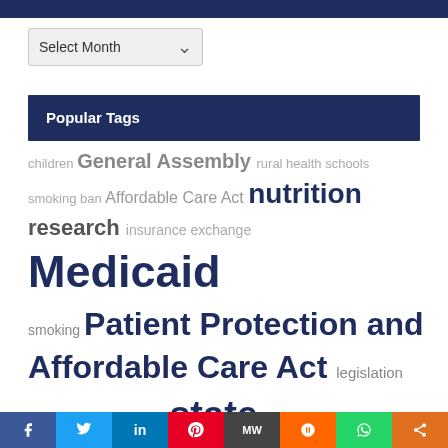Popular Tags
children General Assembly rural health schools smoking ban Affordable Care Act nutrition research insurance exchange Medicaid smoking Patient Protection and Affordable Care Act legislation obamacare legislature state government politics hospitals health insurance tobacco
Facebook Twitter LinkedIn Pinterest MeWe Mix WhatsApp Share